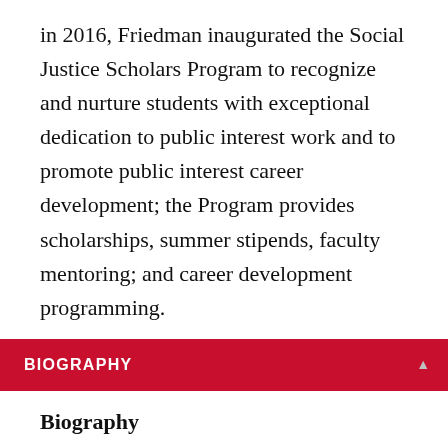in 2016, Friedman inaugurated the Social Justice Scholars Program to recognize and nurture students with exceptional dedication to public interest work and to promote public interest career development; the Program provides scholarships, summer stipends, faculty mentoring; and career development programming.
BIOGRAPHY
Biography
Dean Friedman is responsible for the Pro Bono and Public Interest Program at Rutgers Law School. With others, and thanks to the generous support of James and